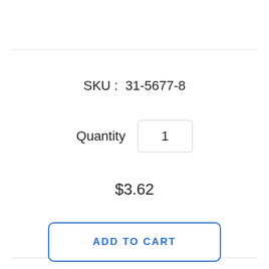SKU :  31-5677-8
Quantity  1
$3.62
ADD TO CART